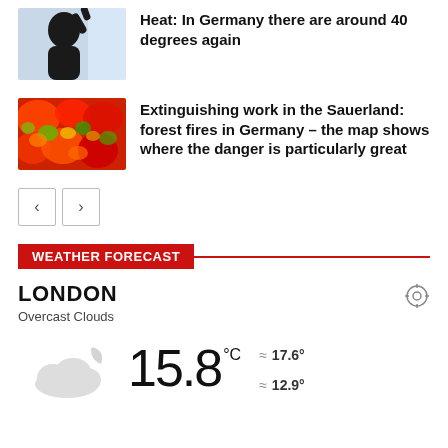[Figure (photo): Silhouette of a person drinking from a bottle against a bright background]
Heat: In Germany there are around 40 degrees again
[Figure (photo): Colorful thermal/satellite map image showing red, orange, green, and yellow tones representing heat distribution]
Extinguishing work in the Sauerland: forest fires in Germany – the map shows where the danger is particularly great
WEATHER FORECAST
LONDON
Overcast Clouds
15.8 °C
17.6°
12.9°